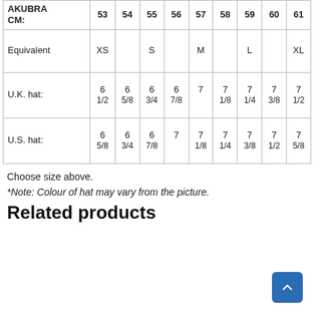| AKUBRA CM: | 53 | 54 | 55 | 56 | 57 | 58 | 59 | 60 | 61 |
| --- | --- | --- | --- | --- | --- | --- | --- | --- | --- |
| Equivalent | XS |  | S |  | M |  | L |  | XL |
| U.K. hat: | 6 1/2 | 6 5/8 | 6 3/4 | 6 7/8 | 7 | 7 1/8 | 7 1/4 | 7 3/8 | 7 1/2 |
| U.S. hat: | 6 5/8 | 6 3/4 | 6 7/8 | 7 | 7 1/8 | 7 1/4 | 7 3/8 | 7 1/2 | 7 5/8 |
Choose size above.
*Note: Colour of hat may vary from the picture.
Related products